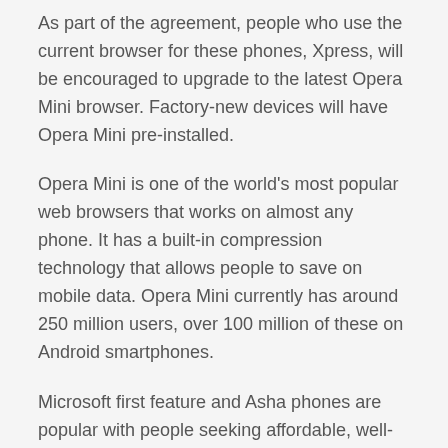As part of the agreement, people who use the current browser for these phones, Xpress, will be encouraged to upgrade to the latest Opera Mini browser. Factory-new devices will have Opera Mini pre-installed.
Opera Mini is one of the world's most popular web browsers that works on almost any phone. It has a built-in compression technology that allows people to save on mobile data. Opera Mini currently has around 250 million users, over 100 million of these on Android smartphones.
Microsoft first feature and Asha phones are popular with people seeking affordable, well-designed and reliable devices capable of internet browsing, apps and more.
“We continue to sell and support classic first and feature phones...